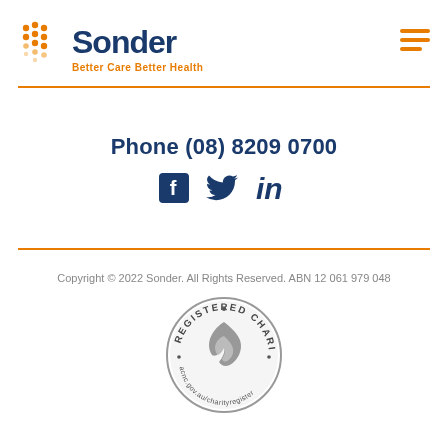[Figure (logo): Sonder logo with orange dot-pattern icon, dark blue 'Sonder' text, and orange tagline 'Better Care Better Health']
Phone (08) 8209 0700
[Figure (illustration): Social media icons: Facebook, Twitter, LinkedIn in dark blue]
Copyright © 2022 Sonder. All Rights Reserved. ABN 12 061 979 048
[Figure (logo): ACNC Registered Charity badge - circular seal with charity symbol]